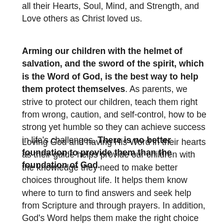all their Hearts, Soul, Mind, and Strength, and Love others as Christ loved us.
Arming our children with the helmet of salvation, and the sword of the spirit, which is the Word of God, is the best way to help them protect themselves. As parents, we strive to protect our children, teach them right from wrong, caution, and self-control, how to be strong yet humble so they can achieve success in life's challenges. There is no better foundation to provide them than the foundation of God.
Loving God and having His Word in their hearts as their guide helps provide our children with the knowledge they need to make better choices throughout life. It helps them know where to turn to find answers and seek help from Scripture and through prayers. In addition, God's Word helps them make the right choice when they encounter situations where bad choices may have lifelong, negative impacts.